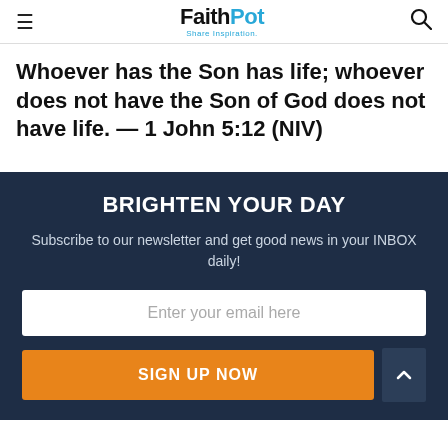FaithPot — Share Inspiration.
Whoever has the Son has life; whoever does not have the Son of God does not have life. — 1 John 5:12 (NIV)
BRIGHTEN YOUR DAY
Subscribe to our newsletter and get good news in your INBOX daily!
Enter your email here
SIGN UP NOW